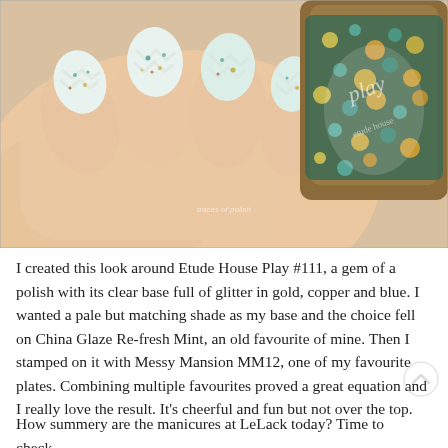[Figure (photo): Close-up photo of a hand holding a nail polish bottle. The nails are painted with a pale mint/white base with a chevron stamped pattern and scattered glitter in teal, gold, and copper. The nail polish bottle has a brown/bronze cap and is filled with chunky glitter in teal, gold, and copper colors. A watermark reading 'traces of polish' is visible on the image.]
I created this look around Etude House Play #111, a gem of a polish with its clear base full of glitter in gold, copper and blue. I wanted a pale but matching shade as my base and the choice fell on China Glaze Re-fresh Mint, an old favourite of mine. Then I stamped on it with Messy Mansion MM12, one of my favourite plates. Combining multiple favourites proved a great equation and I really love the result. It's cheerful and fun but not over the top.
How summery are the manicures at LeLack today? Time to check